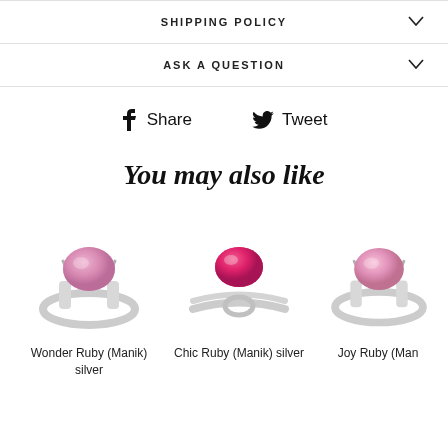SHIPPING POLICY
ASK A QUESTION
Share   Tweet
You may also like
[Figure (photo): Silver ring with oval pink ruby stone (Wonder Ruby Manik silver ring)]
Wonder Ruby (Manik) silver
[Figure (photo): Silver ring with oval bright pink ruby stone and decorative band (Chic Ruby Manik silver ring)]
Chic Ruby (Manik) silver
Joy Ruby (Man